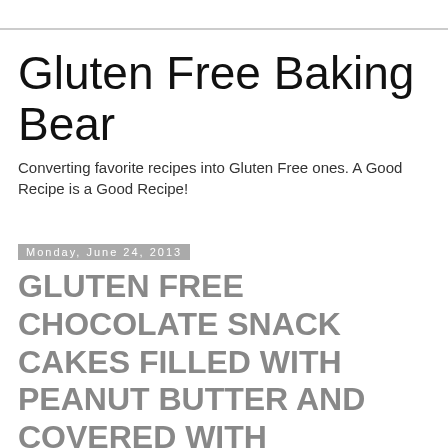Gluten Free Baking Bear
Converting favorite recipes into Gluten Free ones. A Good Recipe is a Good Recipe!
Monday, June 24, 2013
GLUTEN FREE CHOCOLATE SNACK CAKES FILLED WITH PEANUT BUTTER AND COVERED WITH CHOCOLATE aka GF FUNNY BONES with VEGAN & DAIRY-FREE DIRECTIONS